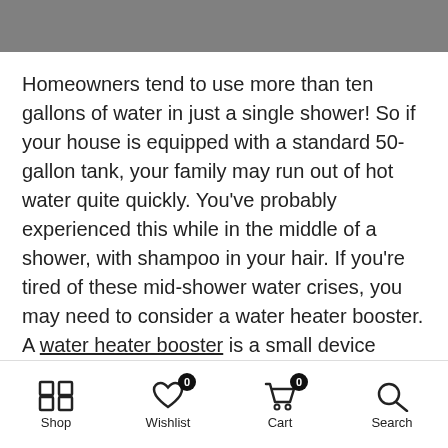Homeowners tend to use more than ten gallons of water in just a single shower! So if your house is equipped with a standard 50-gallon tank, your family may run out of hot water quite quickly. You've probably experienced this while in the middle of a shower, with shampoo in your hair. If you're tired of these mid-shower water crises, you may need to consider a water heater booster. A water heater booster is a small device that's installed directly on the water line or over the water heater. It improves efficiency, capacity, and pressure. Regardless of whether it's a gas or electric heater, a tank booster increases its overall performance, and also provides
Shop | Wishlist 0 | Cart 0 | Search